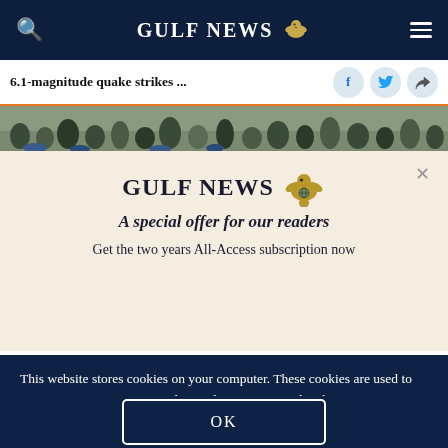GULF NEWS
6.1-magnitude quake strikes ...
[Figure (photo): Crowd of people, article header image]
GULF NEWS
A special offer for our readers
Get the two years All-Access subscription now
This website stores cookies on your computer. These cookies are used to improve your experience and provide more personalized service to you. Both on your website and other media. To find out more about the cookies and data we use, please check out our Privacy Policy.
OK